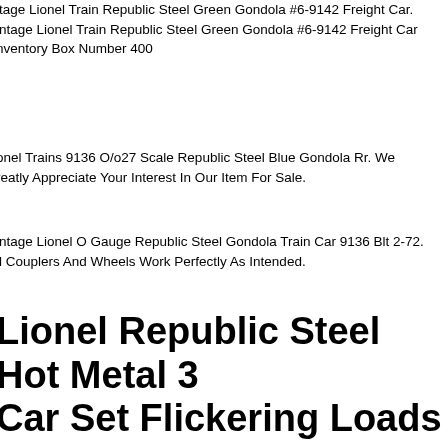Vintage Lionel Train Republic Steel Green Gondola #6-9142 Freight Car. Vintage Lionel Train Republic Steel Green Gondola #6-9142 Freight Car Inventory Box Number 400
Lionel Trains 9136 O/o27 Scale Republic Steel Blue Gondola Rr. We Greatly Appreciate Your Interest In Our Item For Sale.
Vintage Lionel O Gauge Republic Steel Gondola Train Car 9136 Blt 2-72. All Couplers And Wheels Work Perfectly As Intended.
Lionel Republic Steel Hot Metal 3 Car Set Flickering Loads 6-39404! Mill Slag
Lionel Die Cast Republic Steel Hot Metal 3 Car Set! Operating Flickering Loads. New In Original Box. Check Our Ebay Store For A Large Selection Of Trains And Accessories. Add Us To Your Favorite Sellers, New Items Added Every Day. Thanks For Looking! 42422218
Lionel 6-9136 Republic Steel Blue Gondola 1972-76 C8-c10. Item Lionel Freight Cars. Local Pickup Is Available In The Northern Suburbs Of Dallas.